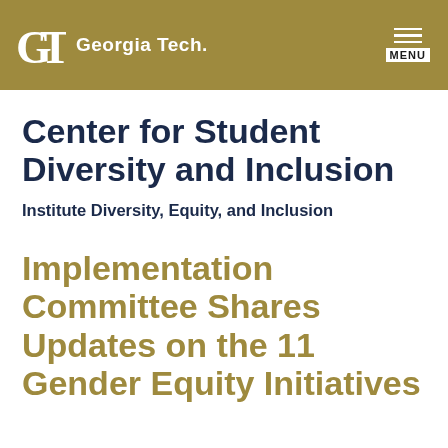Georgia Tech
Center for Student Diversity and Inclusion
Institute Diversity, Equity, and Inclusion
Implementation Committee Shares Updates on the 11 Gender Equity Initiatives